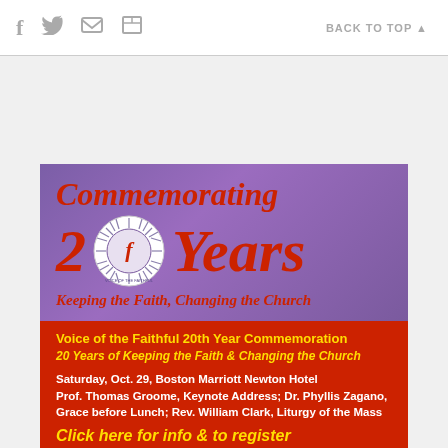f [twitter] [print] [mail] BACK TO TOP ▲
[Figure (illustration): Advertisement for Voice of the Faithful 20th Year Commemoration. Purple gradient background with red italic text 'Commemorating 20 Years' with a circular emblem replacing the zero, subtitle 'Keeping the Faith, Changing the Church'. Red section below with yellow text 'Voice of the Faithful 20th Year Commemoration', italic '20 Years of Keeping the Faith & Changing the Church', white text event details, and yellow CTA 'Click here for info & to register'.]
ADVERTISEMENT